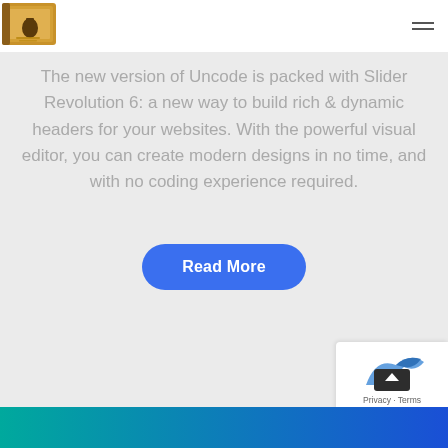[Figure (logo): Book-themed logo with golden/brown colors and small text 'blood papers']
The new version of Uncode is packed with Slider Revolution 6: a new way to build rich & dynamic headers for your websites. With the powerful visual editor, you can create modern designs in no time, and with no coding experience required.
Read More
[Figure (screenshot): Bottom-right overlay widget showing a blue shape, dark back-to-top button with up arrow, and Privacy/Terms text]